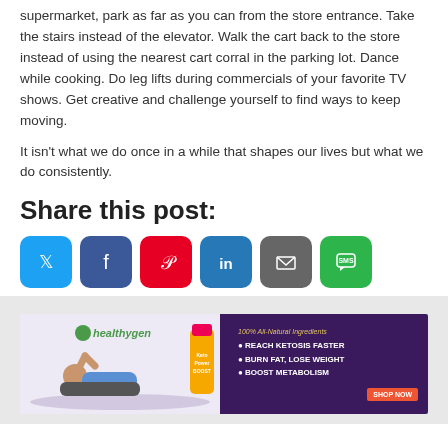supermarket, park as far as you can from the store entrance. Take the stairs instead of the elevator. Walk the cart back to the store instead of using the nearest cart corral in the parking lot. Dance while cooking. Do leg lifts during commercials of your favorite TV shows. Get creative and challenge yourself to find ways to keep moving.
It isn't what we do once in a while that shapes our lives but what we do consistently.
Share this post:
[Figure (infographic): Social share buttons: Twitter (blue), Facebook (dark blue), Pinterest (red), LinkedIn (blue), Email (gray), SMS (green)]
[Figure (infographic): HealthyGen KetoPower Boost advertisement banner with woman lying on yoga mat, product bottles, and bullet points: 100% All-Natural Ingredients, Reach Ketosis Faster, Burn Fat Lose Weight, Boost Metabolism, Shop Now button]